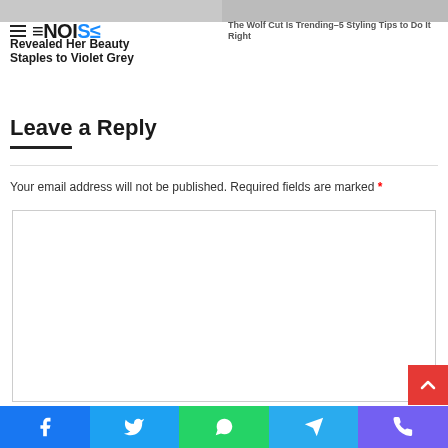≡NOISE — Revealed Her Beauty Staples to Violet Grey | The Wolf Cut Is Trending–5 Styling Tips to Do It Right
Leave a Reply
Your email address will not be published. Required fields are marked *
[Figure (screenshot): Empty comment text area input box with border]
[Figure (screenshot): Social media share bar with Facebook, Twitter, WhatsApp, Telegram, and phone icons]